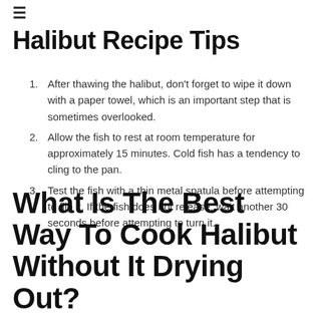≡
Halibut Recipe Tips
After thawing the halibut, don't forget to wipe it down with a paper towel, which is an important step that is sometimes overlooked.
Allow the fish to rest at room temperature for approximately 15 minutes. Cold fish has a tendency to cling to the pan.
Test the fish with a thin metal spatula before attempting to flip it. If the fish does not release, wait another 30 seconds before attempting to turn it.
What Is The Best Way To Cook Halibut Without It Drying Out?